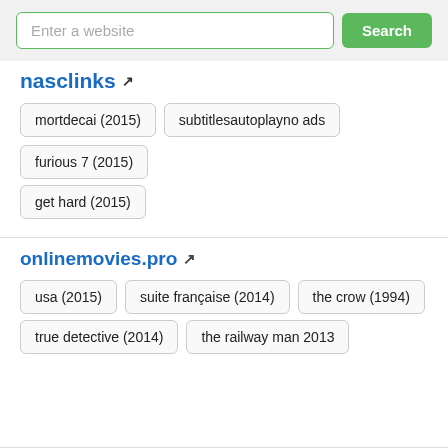Enter a website [Search]
nasclinks [external link icon]
mortdecai (2015)
subtitlesautoplayno ads
furious 7 (2015)
get hard (2015)
onlinemovies.pro [external link icon]
usa (2015)
suite française (2014)
the crow (1994)
true detective (2014)
the railway man 2013